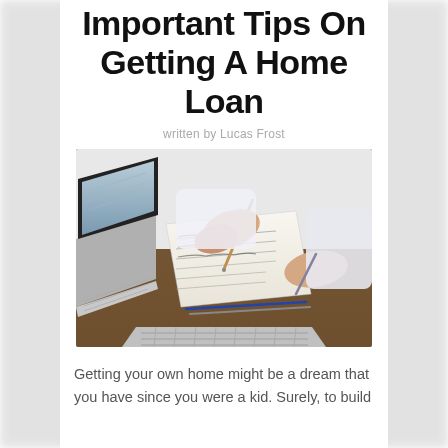Important Tips On Getting A Home Loan
written by Lucas Frost
[Figure (photo): Two people at a desk with laptops, one writing on paper with a pen, reviewing documents related to a home loan.]
Getting your own home might be a dream that you have since you were a kid. Surely, to build